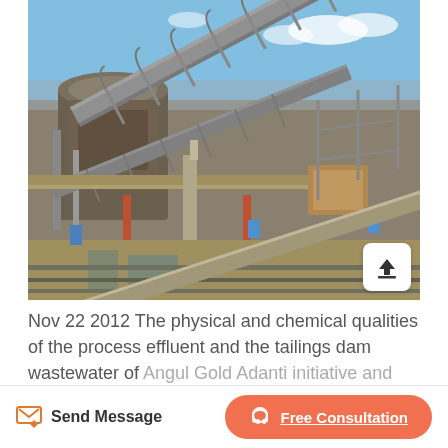[Figure (photo): Industrial mining or mineral processing facility showing conveyor belts, large cylindrical processing equipment, metal scaffolding and structural supports, pipes, and industrial machinery against a blue sky. The equipment appears to be a concentrator or ore processing plant with multiple conveyor systems running diagonally.]
Nov 22 2012 The physical and chemical qualities of the process effluent and the tailings dam wastewater of Angul Gold Adanti initiative and training programme in...
Send Message
Free Consultation